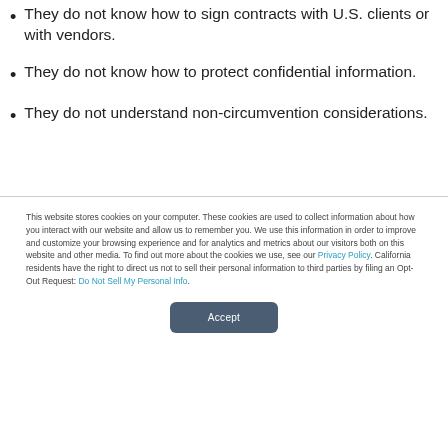They do not know how to sign contracts with U.S. clients or with vendors.
They do not know how to protect confidential information.
They do not understand non-circumvention considerations.
This website stores cookies on your computer. These cookies are used to collect information about how you interact with our website and allow us to remember you. We use this information in order to improve and customize your browsing experience and for analytics and metrics about our visitors both on this website and other media. To find out more about the cookies we use, see our Privacy Policy. California residents have the right to direct us not to sell their personal information to third parties by filing an Opt-Out Request: Do Not Sell My Personal Info.